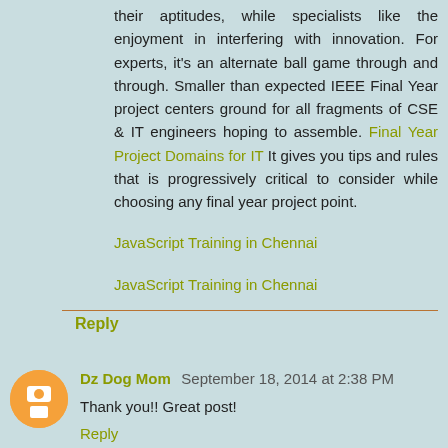their aptitudes, while specialists like the enjoyment in interfering with innovation. For experts, it's an alternate ball game through and through. Smaller than expected IEEE Final Year project centers ground for all fragments of CSE & IT engineers hoping to assemble. Final Year Project Domains for IT It gives you tips and rules that is progressively critical to consider while choosing any final year project point.
JavaScript Training in Chennai
JavaScript Training in Chennai
Reply
Dz Dog Mom September 18, 2014 at 2:38 PM
Thank you!! Great post!
Reply